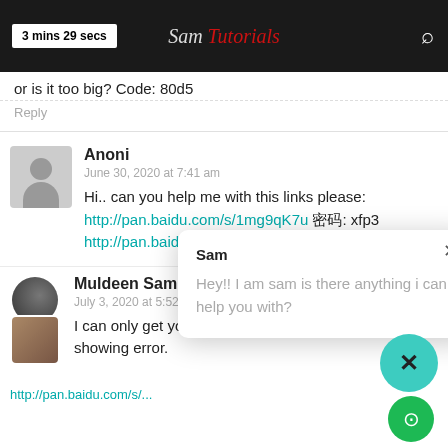3 mins 29 secs | Sam Tutorials
or is it too big? Code: 80d5
Reply
Anoni
June 30, 2020 at 7:41 am
Hi.. can you help me with this links please:
http://pan.baidu.com/s/1mg9qK7u  密码: xfp3
http://pan.baidu.com/s/1kTuwunP  密码: rdz9
Sam
Hey!! I am sam is there anything i can help you with?
Muldeen Samuel
July 3, 2020 at 5:52 am
I can only get you the first file, the second file is showing error.